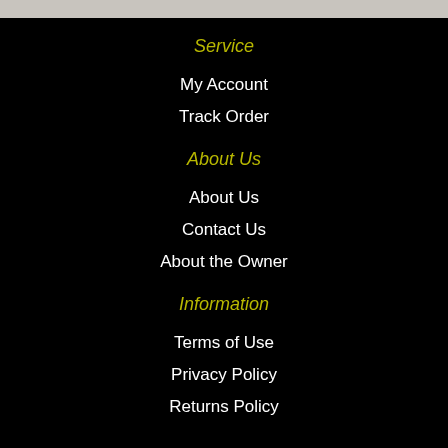Service
My Account
Track Order
About Us
About Us
Contact Us
About the Owner
Information
Terms of Use
Privacy Policy
Returns Policy